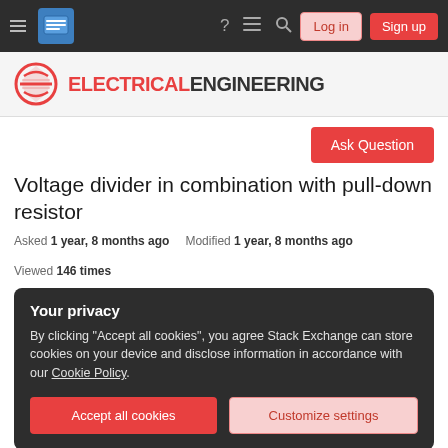Electrical Engineering Stack Exchange – navigation bar with Log in and Sign up buttons
[Figure (logo): Electrical Engineering Stack Exchange site logo with circular icon and site name]
Ask Question
Voltage divider in combination with pull-down resistor
Asked 1 year, 8 months ago   Modified 1 year, 8 months ago   Viewed 146 times
Your privacy
By clicking "Accept all cookies", you agree Stack Exchange can store cookies on your device and disclose information in accordance with our Cookie Policy.
Accept all cookies   Customize settings
3.3V on the input pins, but the battery voltage can